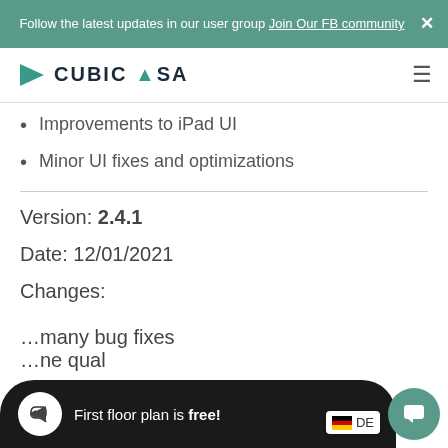Follow the latest updates in our user group Join Our FB community
[Figure (logo): CubiCasa logo with teal triangle arrow and dark text CUBICASA]
Improvements to iPad UI
Minor UI fixes and optimizations
Version: 2.4.1
Date: 12/01/2021
Changes:
…many bug fixes
…ne qual
First floor plan is free!